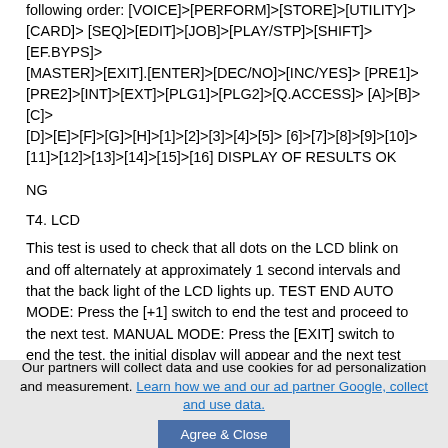following order: [VOICE]>[PERFORM]>[STORE]>[UTILITY]>[CARD]> [SEQ]>[EDIT]>[JOB]>[PLAY/STP]>[SHIFT]>[EF.BYPS]>[MASTER]>[EXIT].[ENTER]>[DEC/NO]>[INC/YES]> [PRE1]>[PRE2]>[INT]>[EXT]>[PLG1]>[PLG2]>[Q.ACCESS]> [A]>[B]>[C]>[D]>[E]>[F]>[G]>[H]>[1]>[2]>[3]>[4]>[5]> [6]>[7]>[8]>[9]>[10]>[11]>[12]>[13]>[14]>[15]>[16] DISPLAY OF RESULTS OK
NG
T4. LCD
This test is used to check that all dots on the LCD blink on and off alternately at approximately 1 second intervals and that the back light of the LCD lights up. TEST END AUTO MODE: Press the [+1] switch to end the test and proceed to the next test. MANUAL MODE: Press the [EXIT] switch to end the test, the initial display will appear and the next test number will be set.
Our partners will collect data and use cookies for ad personalization and measurement. Learn how we and our ad partner Google, collect and use data. Agree & Close